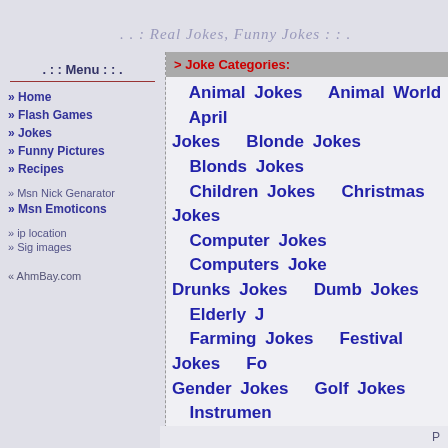. . : Real Jokes, Funny Jokes : : .
. : : Menu : : .
» Home
» Flash Games
» Jokes
» Funny Pictures
» Recipes
» Msn Nick Genarator
» Msn Emoticons
» ip location
» Sig images
« AhmBay.com
> Joke Categories:
Animal Jokes  Animal World  April Jokes  Blonde Jokes  Blonds Jokes  Children Jokes  Christmas Jokes  Computer Jokes  Computers Joke  Drunks Jokes  Dumb Jokes  Elderly J  Farming Jokes  Festival Jokes  Fo  Gender Jokes  Golf Jokes  Instrumen  Language Jokes  Lawyer Jokes  Le Jokes  Men Jokes  Military Jokes  M Jokes  Ouch Jokes  Police Jokes  P Jokes  Red Indian Jokes  Redneck J Jokes  Science Jokes  More Jokes  Jokes  Travel Jokes  Travel Jokes  W Jo
P